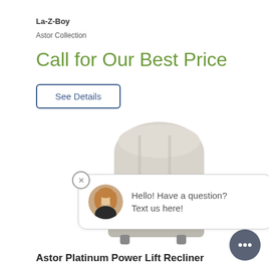La-Z-Boy
Astor Collection
Call for Our Best Price
See Details
[Figure (photo): A light gray/cream upholstered power lift recliner chair (Astor Platinum Power Lift Recliner by La-Z-Boy), shown from the side/front angle against a white background, with a chat popup overlay and close button.]
Hello! Have a question?
Text us here!
Astor Platinum Power Lift Recliner